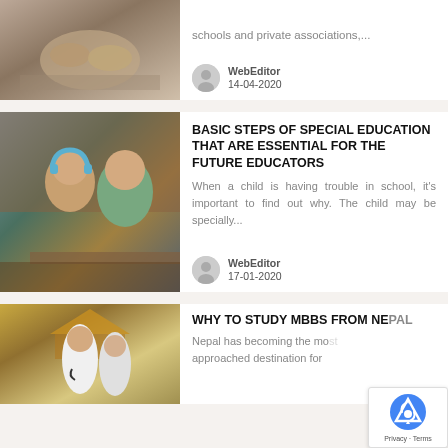[Figure (photo): Partial photo of hands writing on paper, cropped at top]
schools and private associations,...
WebEditor
14-04-2020
[Figure (photo): Two children with headphones at a table, special education setting]
BASIC STEPS OF SPECIAL EDUCATION THAT ARE ESSENTIAL FOR THE FUTURE EDUCATORS
When a child is having trouble in school, it's important to find out why. The child may be specially...
WebEditor
17-01-2020
[Figure (photo): Medical professionals, Asian woman doctor and another person, temple architecture in background]
WHY TO STUDY MBBS FROM NEPAL
Nepal has becoming the mo approached destination for